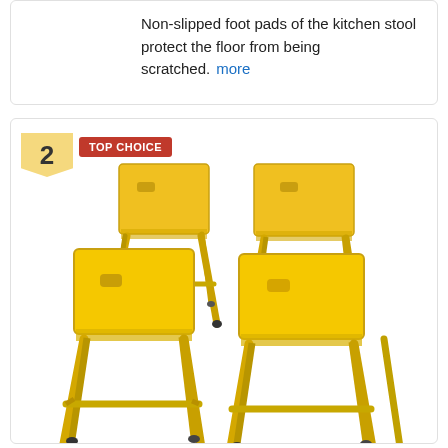Non-slipped foot pads of the kitchen stool protect the floor from being scratched. more
[Figure (photo): Four yellow metal bar stools arranged in a group, showing top and side views. Labeled as item number 2 with a 'TOP CHOICE' badge.]